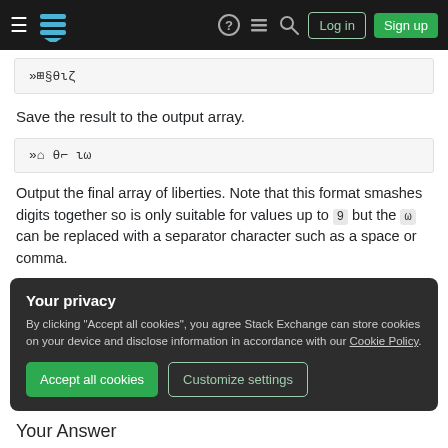Stack Exchange navigation bar with Log in and Sign up buttons
»⊞§θιζ
Save the result to the output array.
»⌂ θ⌐ ιω
Output the final array of liberties. Note that this format smashes digits together so is only suitable for values up to 9 but the ω can be replaced with a separator character such as a space or comma.
Your privacy
By clicking "Accept all cookies", you agree Stack Exchange can store cookies on your device and disclose information in accordance with our Cookie Policy.
Accept all cookies  Customize settings
Your Answer